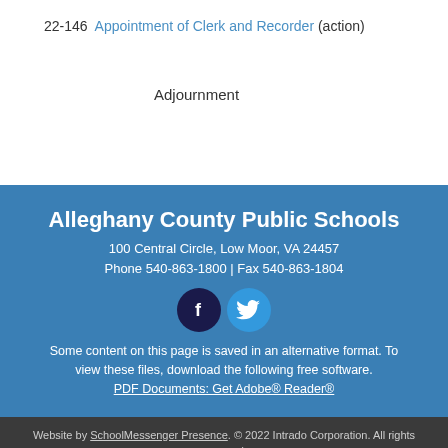22-146  Appointment of Clerk and Recorder (action)
Adjournment
Alleghany County Public Schools
100 Central Circle, Low Moor, VA 24457
Phone 540-863-1800 | Fax 540-863-1804
[Figure (illustration): Facebook and Twitter social media icons]
Some content on this page is saved in an alternative format. To view these files, download the following free software.
PDF Documents: Get Adobe® Reader®
Website by SchoolMessenger Presence. © 2022 Intrado Corporation. All rights reserved.